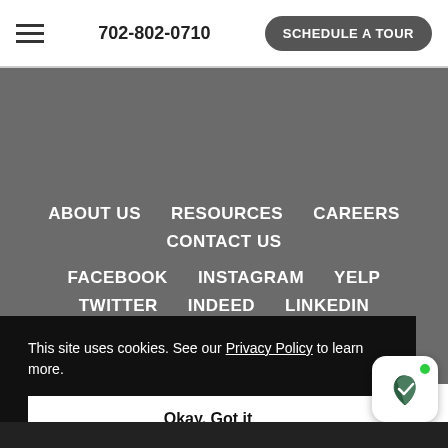702-802-0710  SCHEDULE A TOUR
ABOUT US
RESOURCES
CAREERS
CONTACT US
FACEBOOK
INSTAGRAM
YELP
TWITTER
INDEED
LINKEDIN
This site uses cookies. See our Privacy Policy to learn more.
Okay, Got it